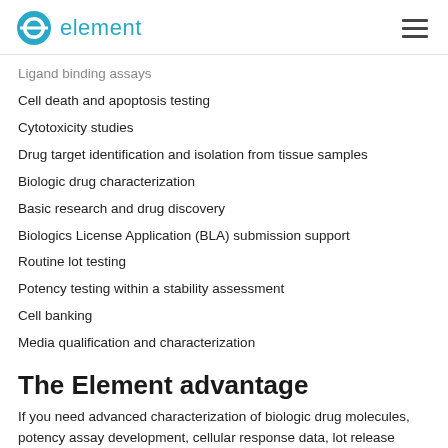element
Ligand binding assays
Cell death and apoptosis testing
Cytotoxicity studies
Drug target identification and isolation from tissue samples
Biologic drug characterization
Basic research and drug discovery
Biologics License Application (BLA) submission support
Routine lot testing
Potency testing within a stability assessment
Cell banking
Media qualification and characterization
The Element advantage
If you need advanced characterization of biologic drug molecules, potency assay development, cellular response data, lot release support, or more, Element's cell culture expertise is at your disposal. And whatever your needs, when it comes to...